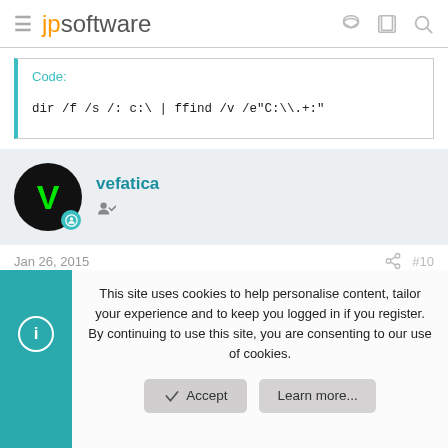jpsoftware
vefatica
Jan 26, 2015  #10
This site uses cookies to help personalise content, tailor your experience and to keep you logged in if you register.
By continuing to use this site, you are consenting to our use of cookies.